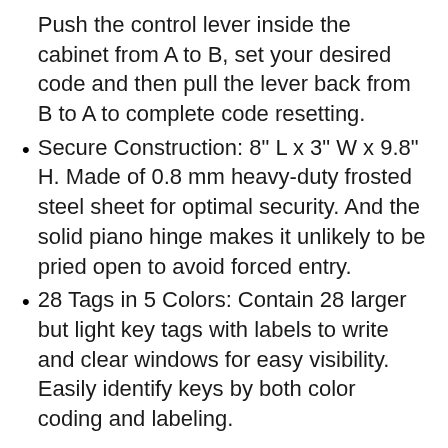Push the control lever inside the cabinet from A to B, set your desired code and then pull the lever back from B to A to complete code resetting.
Secure Construction: 8" L x 3" W x 9.8" H. Made of 0.8 mm heavy-duty frosted steel sheet for optimal security. And the solid piano hinge makes it unlikely to be pried open to avoid forced entry.
28 Tags in 5 Colors: Contain 28 larger but light key tags with labels to write and clear windows for easy visibility. Easily identify keys by both color coding and labeling.
10  Barska CB13238 Key Lock 300 Position